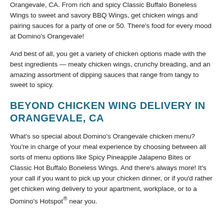Orangevale, CA. From rich and spicy Classic Buffalo Boneless Wings to sweet and savory BBQ Wings, get chicken wings and pairing sauces for a party of one or 50. There's food for every mood at Domino's Orangevale!
And best of all, you get a variety of chicken options made with the best ingredients — meaty chicken wings, crunchy breading, and an amazing assortment of dipping sauces that range from tangy to sweet to spicy.
BEYOND CHICKEN WING DELIVERY IN ORANGEVALE, CA
What's so special about Domino's Orangevale chicken menu? You're in charge of your meal experience by choosing between all sorts of menu options like Spicy Pineapple Jalapeno Bites or Classic Hot Buffalo Boneless Wings. And there's always more! It's your call if you want to pick up your chicken dinner, or if you'd rather get chicken wing delivery to your apartment, workplace, or to a Domino's Hotspot® near you.